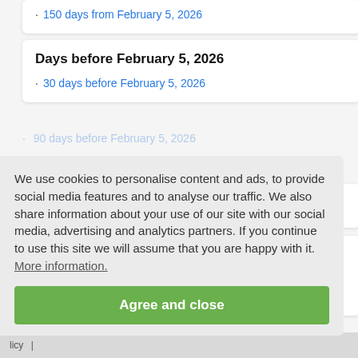150 days from February 5, 2026
Days before February 5, 2026
30 days before February 5, 2026
90 days before February 5, 2026
We use cookies to personalise content and ads, to provide social media features and to analyse our traffic. We also share information about your use of our site with our social media, advertising and analytics partners. If you continue to use this site we will assume that you are happy with it. More information.
Agree and close